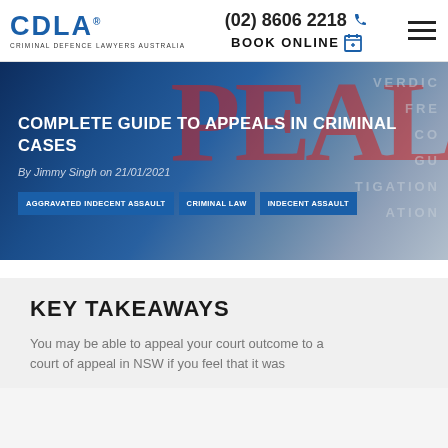[Figure (logo): CDLA Criminal Defence Lawyers Australia logo in blue]
(02) 8606 2218
BOOK ONLINE
[Figure (photo): Hero banner with blue gradient overlay showing the word APPEAL in red, a hand writing with a pen, and legal investigation text in background]
COMPLETE GUIDE TO APPEALS IN CRIMINAL CASES
By Jimmy Singh on 21/01/2021
AGGRAVATED INDECENT ASSAULT
CRIMINAL LAW
INDECENT ASSAULT
KEY TAKEAWAYS
You may be able to appeal your court outcome to a court of appeal in NSW if you feel that it was...